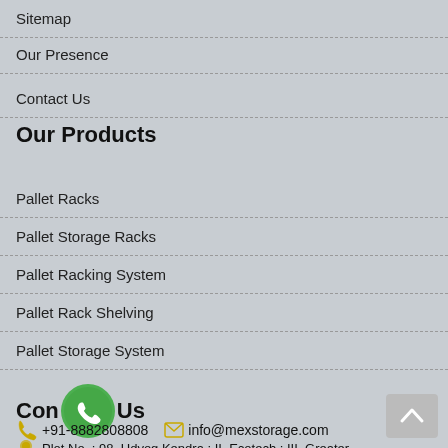Sitemap
Our Presence
Contact Us
Our Products
Pallet Racks
Pallet Storage Racks
Pallet Racking System
Pallet Rack Shelving
Pallet Storage System
Contact Us
+91-8882808808   info@mexstorage.com
Plot No. : 98, Udyog Kendra : II, Ecotech : III, Greater